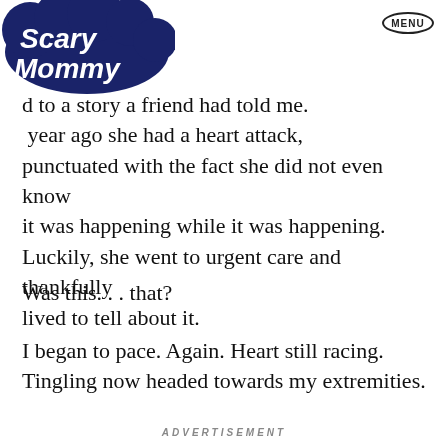[Figure (logo): Scary Mommy logo in dark navy blue with cloud/bubble lettering style]
MENU
d to a story a friend had told me. year ago she had a heart attack, punctuated with the fact she did not even know it was happening while it was happening. Luckily, she went to urgent care and thankfully lived to tell about it.
Was this. . . that?
I began to pace. Again. Heart still racing. Tingling now headed towards my extremities.
ADVERTISEMENT